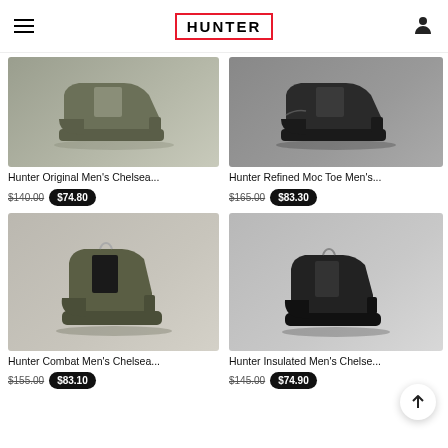HUNTER
[Figure (photo): Hunter Original Men's Chelsea boot in dark olive/green, side profile on light gray background]
Hunter Original Men's Chelsea...
$140.00  $74.80
[Figure (photo): Hunter Refined Moc Toe Men's boot in black, side profile on light gray background]
Hunter Refined Moc Toe Men's...
$165.00  $83.30
[Figure (photo): Hunter Combat Men's Chelsea boot in dark olive/green, three-quarter profile on beige/gray background]
Hunter Combat Men's Chelsea...
$155.00  $83.10
[Figure (photo): Hunter Insulated Men's Chelsea boot in black, side profile on light gray background]
Hunter Insulated Men's Chelsea...
$145.00  $74.90